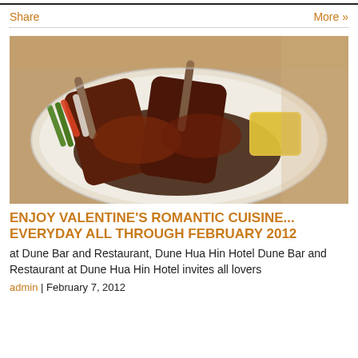Share
More »
[Figure (photo): A plate of grilled lamb chops with dark sauce served on a white plate, garnished with asparagus, carrots, and a portion of couscous or yellow grain, photographed from above at an angle.]
ENJOY VALENTINE'S ROMANTIC CUISINE... EVERYDAY ALL THROUGH FEBRUARY 2012
at Dune Bar and Restaurant, Dune Hua Hin Hotel Dune Bar and Restaurant at Dune Hua Hin Hotel invites all lovers
admin | February 7, 2012